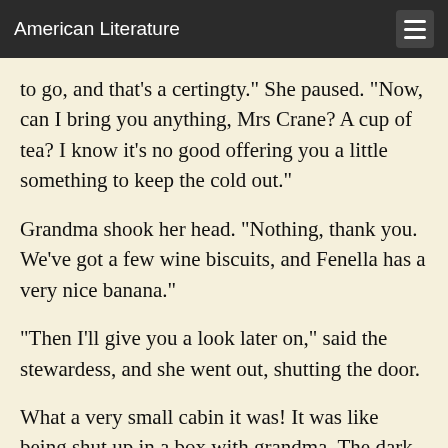American Literature
to go, and that's a certingty." She paused. "Now, can I bring you anything, Mrs Crane? A cup of tea? I know it's no good offering you a little something to keep the cold out."
Grandma shook her head. "Nothing, thank you. We've got a few wine biscuits, and Fenella has a very nice banana."
"Then I'll give you a look later on," said the stewardess, and she went out, shutting the door.
What a very small cabin it was! It was like being shut up in a box with grandma. The dark round eye above the washstand gleamed at them dully.